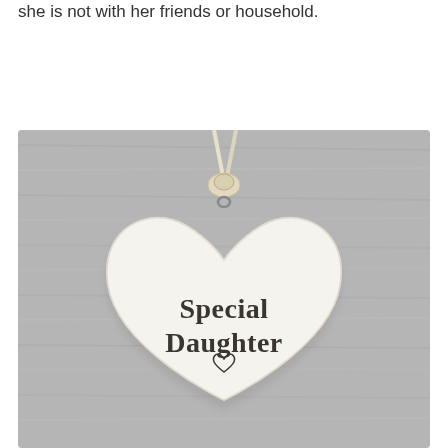she is not with her friends or household.
[Figure (photo): A ceramic heart-shaped plaque with a cream/white ribbon hanging from a metal loop, placed against a grey wooden background. The heart reads 'Special Daughter' with a small heart outline below the text.]